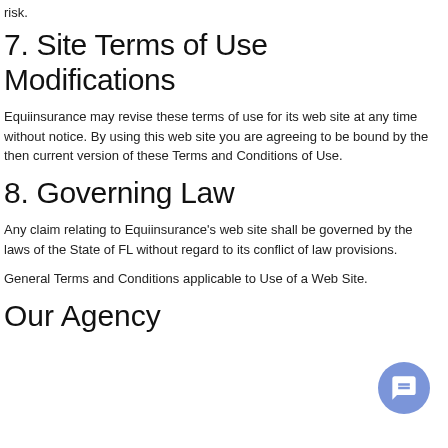risk.
7. Site Terms of Use Modifications
Equiinsurance may revise these terms of use for its web site at any time without notice. By using this web site you are agreeing to be bound by the then current version of these Terms and Conditions of Use.
8. Governing Law
Any claim relating to Equiinsurance's web site shall be governed by the laws of the State of FL without regard to its conflict of law provisions.
General Terms and Conditions applicable to Use of a Web Site.
Our Agency